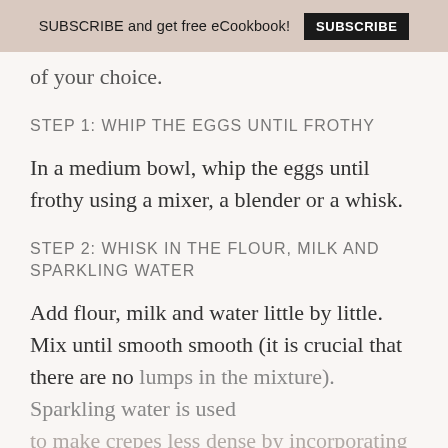SUBSCRIBE and get free eCookbook! SUBSCRIBE
of your choice.
STEP 1: WHIP THE EGGS UNTIL FROTHY
In a medium bowl, whip the eggs until frothy using a mixer, a blender or a whisk.
STEP 2: WHISK IN THE FLOUR, MILK AND SPARKLING WATER
Add flour, milk and water little by little. Mix until smooth smooth (it is crucial that there are no lumps in the mixture). Sparkling water is used to make crepes less dense by incorporating tiny